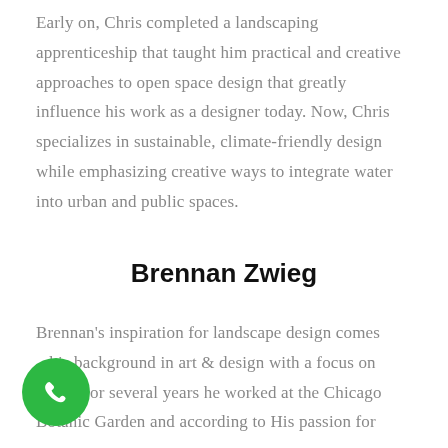Early on, Chris completed a landscaping apprenticeship that taught him practical and creative approaches to open space design that greatly influence his work as a designer today. Now, Chris specializes in sustainable, climate-friendly design while emphasizing creative ways to integrate water into urban and public spaces.
Brennan Zwieg
Brennan's inspiration for landscape design comes his background in art & design with a focus on ing. For several years he worked at the Chicago Botanic Garden and according to His passion for
[Figure (other): Green circular phone/call button icon in the bottom left corner]